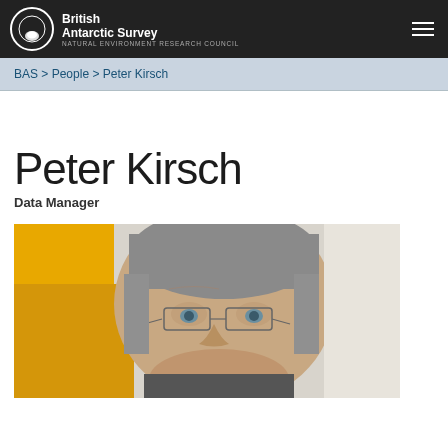British Antarctic Survey — Natural Environment Research Council
BAS > People > Peter Kirsch
Peter Kirsch
Data Manager
[Figure (photo): Close-up portrait photograph of Peter Kirsch, a middle-aged man with grey hair and wire-rimmed glasses, wearing a yellow jacket, looking downward.]